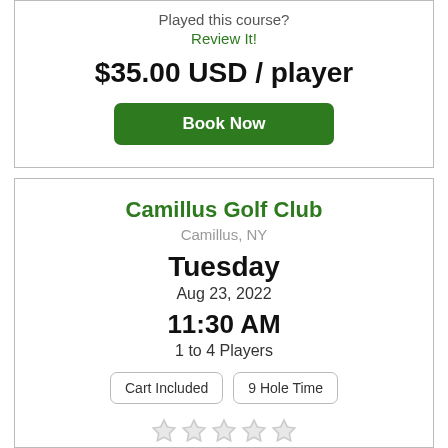Played this course?
Review It!
$35.00 USD / player
Book Now
Camillus Golf Club
Camillus, NY
Tuesday
Aug 23, 2022
11:30 AM
1 to 4 Players
Cart Included
9 Hole Time
Played this course?
Review It!